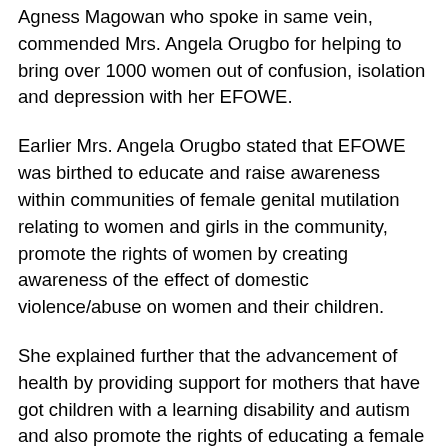Agness Magowan who spoke in same vein, commended Mrs. Angela Orugbo for helping to bring over 1000 women out of confusion, isolation and depression with her EFOWE.
Earlier Mrs. Angela Orugbo stated that EFOWE was birthed to educate and raise awareness within communities of female genital mutilation relating to women and girls in the community, promote the rights of women by creating awareness of the effect of domestic violence/abuse on women and their children.
She explained further that the advancement of health by providing support for mothers that have got children with a learning disability and autism and also promote the rights of educating a female child in becoming asset to her family and the nation, as well as the many dangers of not educating them.
According to her: “EFOWE is poised at educating and providing support for women towards self-esteem and self-confidence